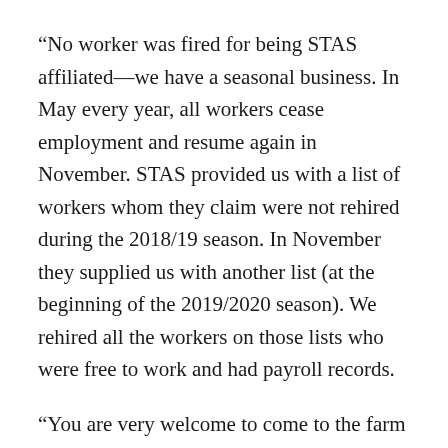“No worker was fired for being STAS affiliated—we have a seasonal business. In May every year, all workers cease employment and resume again in November. STAS provided us with a list of workers whom they claim were not rehired during the 2018/19 season. In November they supplied us with another list (at the beginning of the 2019/2020 season). We rehired all the workers on those lists who were free to work and had payroll records.
“You are very welcome to come to the farm and see the conditions for yourself. Our farms have passed SMETA audits for safety, health, and worker wellbeing. These reports are accessible to all customers on the SEDEX platform and are independently audited.